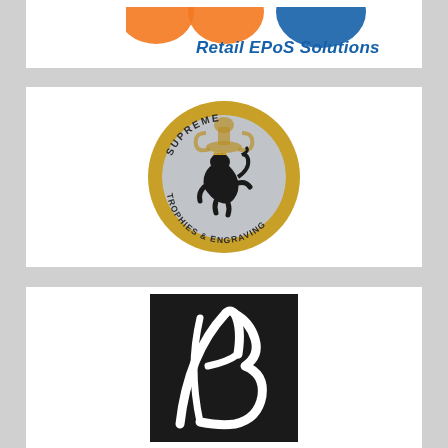[Figure (logo): Partial orange and blue logo with text 'Retail EPoS Solutions' in blue italic font on white background]
[Figure (logo): Supreme Trophies & Engraving circular logo with gold ring border, grey interior, black heraldic lion rampant, and trophy silhouette]
[Figure (logo): Black rectangle with stylized white 'AB' monogram script logo]